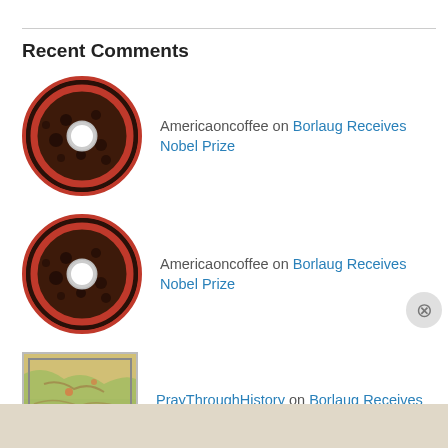Recent Comments
Americaoncoffee on Borlaug Receives Nobel Prize
Americaoncoffee on Borlaug Receives Nobel Prize
PrayThroughHistory on Borlaug Receives Nobel Prize
Americaoncoffee on Borlaug Receives Nobel Prize
Privacy & Cookies: This site uses cookies. By continuing to use this website, you agree to their use.
To find out more, including how to control cookies, see here: Cookie Policy
Close and accept